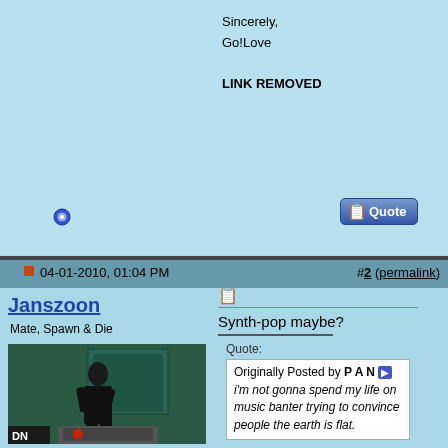Sincerely,
Go!Love
LINK REMOVED
04-01-2010, 01:04 PM   #2 (permalink)
Janszoon
Mate, Spawn & Die
[Figure (photo): Person in dark clothing leaning over equipment in front of a green wall]
Synth-pop maybe?
Quote:
Originally Posted by P A N
i'm not gonna spend my life on music banter trying to convince people the earth is flat.
A Night in the Life of the Invisible Man
Time & Place
25 Albums You Should Hear Before the Moon Crashes into the Earth and We All Die
last.fm